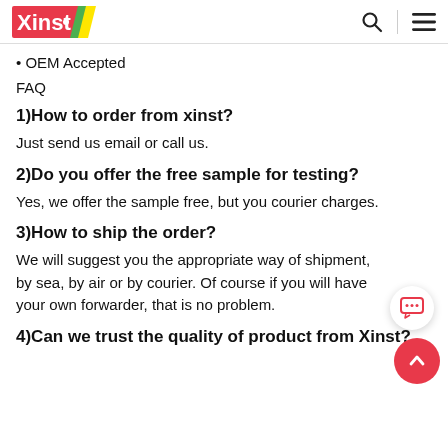Xinst [logo] | search | menu
• OEM Accepted
FAQ
1)How to order from xinst?
Just send us email or call us.
2)Do you offer the free sample for testing?
Yes, we offer the sample free, but you courier charges.
3)How to ship the order?
We will suggest you the appropriate way of shipment, by sea, by air or by courier. Of course if you will have your own forwarder, that is no problem.
4)Can we trust the quality of product from Xinst?